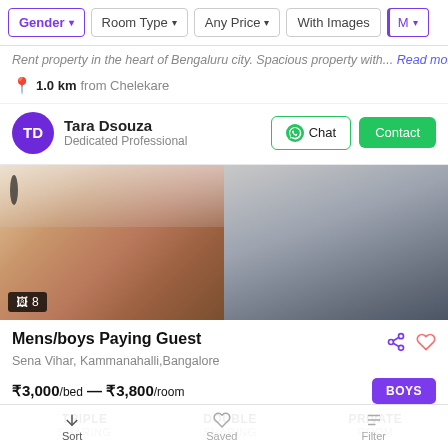Gender | Room Type | Any Price | With Images | More
Rent property in the heart of Bengaluru city. Spacious property with... Read more
1.0 km from Chelekare
Tara Dsouza
Dedicated Professional
[Figure (photo): Two property photos side by side showing a room interior (left, warm tones) and a hallway/corridor (right, grey tones). Image count badge shows 8.]
Mens/boys Paying Guest
Sena Vihar, Kammanahalli,Bangalore
₹3,000/bed — ₹3,800/room
BOYS
TRIPLE SHARING
DOUBLE SHARING
PRIVATE ROOM